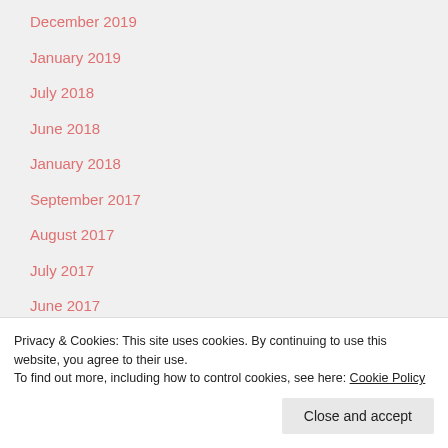December 2019
January 2019
July 2018
June 2018
January 2018
September 2017
August 2017
July 2017
June 2017
April 2017
March 2017
Privacy & Cookies: This site uses cookies. By continuing to use this website, you agree to their use.
To find out more, including how to control cookies, see here: Cookie Policy
Close and accept